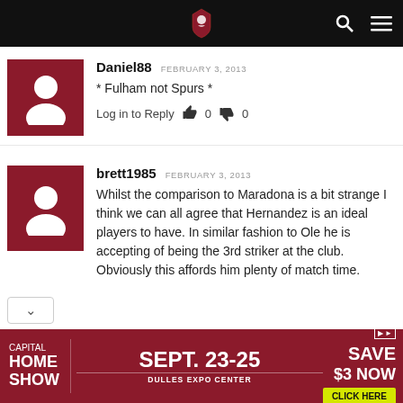Navigation bar with logo, search, and menu icons
Daniel88   FEBRUARY 3, 2013
* Fulham not Spurs *
Log in to Reply  👍 0  👎 0
brett1985   FEBRUARY 3, 2013
Whilst the comparison to Maradona is a bit strange I think we can all agree that Hernandez is an ideal players to have. In similar fashion to Ole he is accepting of being the 3rd striker at the club. Obviously this affords him plenty of match time.
[Figure (other): Advertisement banner: Capital Home Show, Sept. 23-25, Dulles Expo Center, Save $3 Now, Click Here]